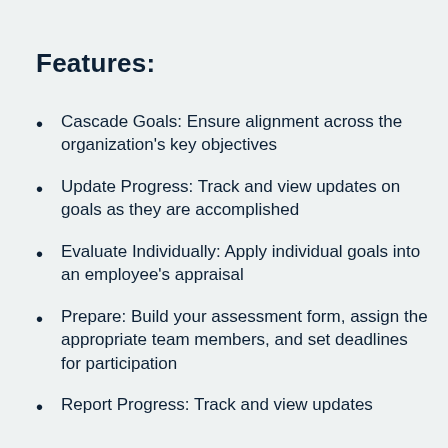Features:
Cascade Goals: Ensure alignment across the organization's key objectives
Update Progress: Track and view updates on goals as they are accomplished
Evaluate Individually: Apply individual goals into an employee's appraisal
Prepare: Build your assessment form, assign the appropriate team members, and set deadlines for participation
Report Progress: Track and view updates